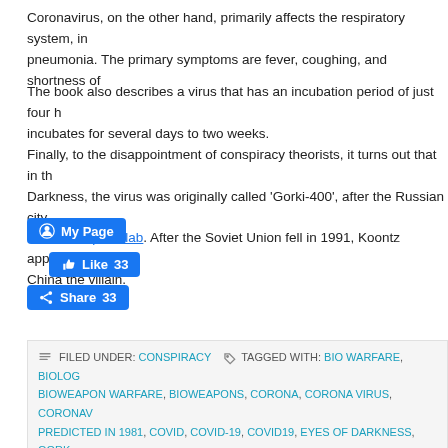Coronavirus, on the other hand, primarily affects the respiratory system, in pneumonia. The primary symptoms are fever, coughing, and shortness of
The book also describes a virus that has an incubation period of just four h incubates for several days to two weeks.
Finally, to the disappointment of conspiracy theorists, it turns out that in th Darkness, the virus was originally called 'Gorki-400', after the Russian city the bioweapons lab. After the Soviet Union fell in 1991, Koontz apparently China the villain.
[Figure (other): Facebook social media buttons: My Page button, Like 33 button, Share 33 button]
FILED UNDER: CONSPIRACY   TAGGED WITH: BIO WARFARE, BIOLOG BIOWEAPON WARFARE, BIOWEAPONS, CORONA, CORONA VIRUS, CORONAV PREDICTED IN 1981, COVID, COVID-19, COVID19, EYES OF DARKNESS, GORK RDNA, RDNA LABS, RDNA WARFARE, THE EYES OF DARKNESS, VIROLOGY, VI VIROLOGY WARFARE, VIRUS WARFARE, WUHAN, WUHAN-400, WUHAN400